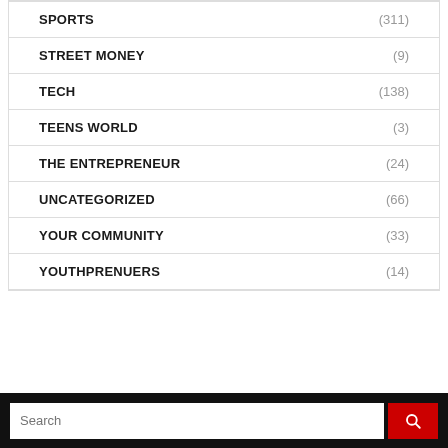SPORTS (311)
STREET MONEY (9)
TECH (138)
TEENS WORLD (3)
THE ENTREPRENEUR (24)
UNCATEGORIZED (66)
YOUR COMMUNITY (33)
YOUTHPRENUERS (14)
Search